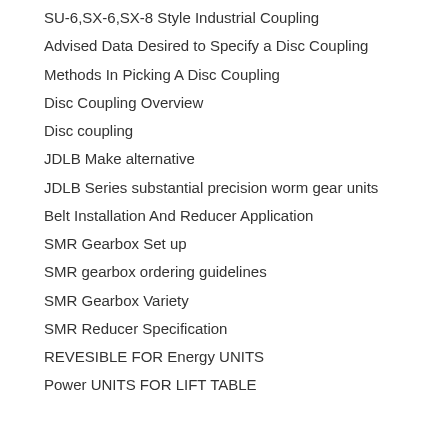SU-6,SX-6,SX-8 Style Industrial Coupling
Advised Data Desired to Specify a Disc Coupling
Methods In Picking A Disc Coupling
Disc Coupling Overview
Disc coupling
JDLB Make alternative
JDLB Series substantial precision worm gear units
Belt Installation And Reducer Application
SMR Gearbox Set up
SMR gearbox ordering guidelines
SMR Gearbox Variety
SMR Reducer Specification
REVESIBLE FOR Energy UNITS
Power UNITS FOR LIFT TABLE